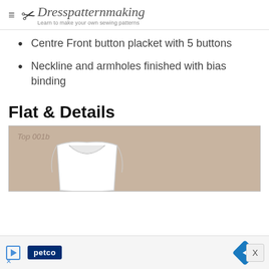Dresspatternmaking — Learn to make your own sewing patterns
Centre Front button placket with 5 buttons
Neckline and armholes finished with bias binding
Flat & Details
[Figure (illustration): Flat sketch illustration of Top 001b, showing front view of a sleeveless top with scoop neckline on a tan/beige background]
[Figure (other): Advertisement bar at bottom featuring Petco logo and navigation arrow icon]